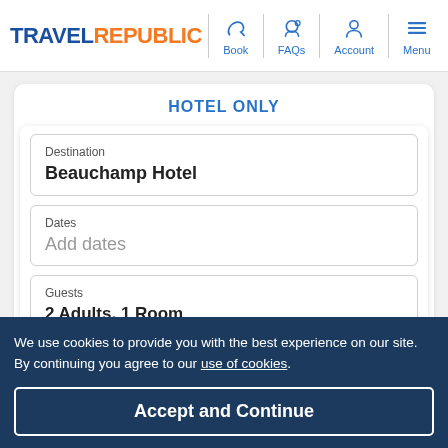TRAVEL REPUBLIC — Book | FAQs | Account | Menu
HOTEL ONLY
Destination
Beauchamp Hotel
Dates
Add dates
Guests
2 Adults, 1 Room
We use cookies to provide you with the best experience on our site. By continuing you agree to our use of cookies.
Accept and Continue